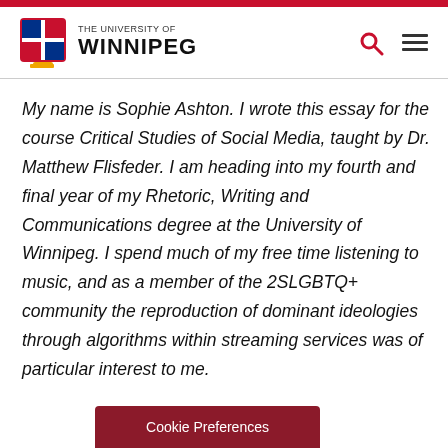THE UNIVERSITY OF WINNIPEG
My name is Sophie Ashton. I wrote this essay for the course Critical Studies of Social Media, taught by Dr. Matthew Flisfeder. I am heading into my fourth and final year of my Rhetoric, Writing and Communications degree at the University of Winnipeg. I spend much of my free time listening to music, and as a member of the 2SLGBTQ+ community the reproduction of dominant ideologies through algorithms within streaming services was of particular interest to me.
Cookie Preferences